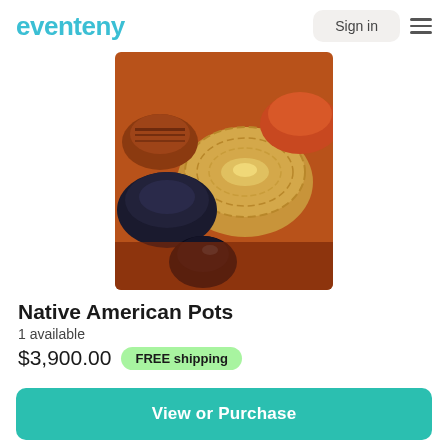eventeny  Sign in
[Figure (photo): Photo of Native American pottery bowls arranged together, showing various sizes with earth-toned and dark glazed finishes]
Native American Pots
1 available
$3,900.00  FREE shipping
View or Purchase
[Figure (photo): Partial view of a second product image showing what appears to be a small figurine with a black top hat]